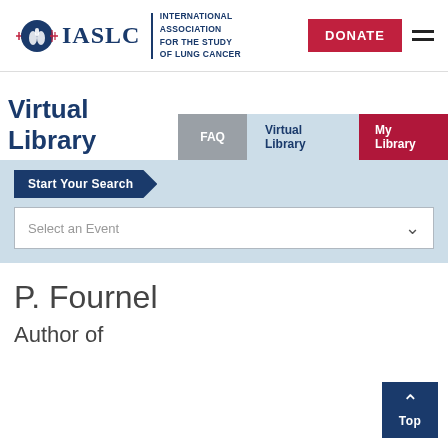[Figure (logo): IASLC logo with lung icon and text: INTERNATIONAL ASSOCIATION FOR THE STUDY OF LUNG CANCER]
[Figure (other): Red DONATE button and hamburger menu icon]
Virtual Library
FAQ | Virtual Library | My Library (navigation tabs)
Start Your Search
Select an Event
P. Fournel
Author of